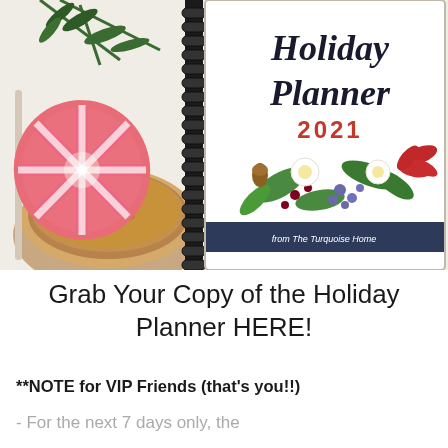[Figure (photo): Photo of a spiral-bound Holiday Planner 2021 book from The Turquoise Home, with watercolor floral decorations on the cover, surrounded by holiday cookies with pink snowflake icing and a cup of coffee on a white background.]
Grab Your Copy of the Holiday Planner HERE!
**NOTE for VIP Friends (that's you!!)
- For the next 7 days only, the